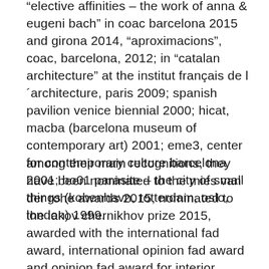“elective affinities – the work of anna & eugeni bach” in coac barcelona 2015 and girona 2014, “aproximacions”, coac, barcelona, 2012; in “catalan architecture” at the institut français de l´architecture, paris 2009; spanish pavilion venice biennial 2000; hicat, macba (barcelona museum of contemporary art) 2001; eme3, center for contemporary culture barcelona 2001; bo01 parasite – the city of small things (kobenhavn, rotterdam, oslo, london) 1999.
among their main recognitions, they have been nominated to the mies van der rohe awards 2015, nominated to the iakov chernikhov prize 2015, awarded with the international fad award, international opinion fad award and opinion fad award for interior design 2014; finalist at the fad award 2013, selected for the fab award...